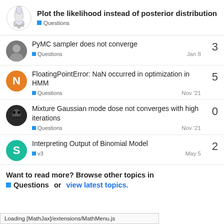Plot the likelihood instead of posterior distribution — Questions
PyMC sampler does not converge
Questions — Jan 8 — replies: 3
FloatingPointError: NaN occurred in optimization in HMM
Questions — Nov '21 — replies: 5
Mixture Gaussian mode dose not converges with high iterations
Questions — Nov '21 — replies: 0
Interpreting Output of Binomial Model
v3 — May 5 — replies: 2
Want to read more? Browse other topics in Questions or view latest topics.
Loading [MathJax]/extensions/MathMenu.js